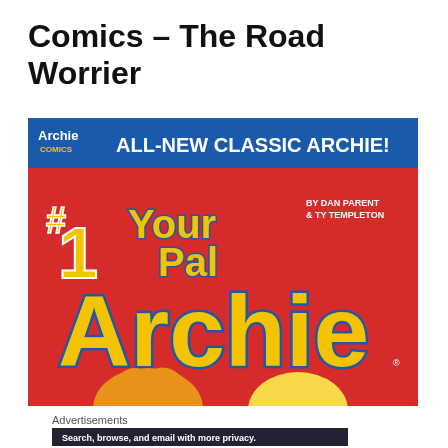Comics – The Road Worrier
[Figure (illustration): Comic book cover: 'Your Pal Archie #1' by Archie Comics. Blue header banner reads 'ALL-NEW CLASSIC ARCHIE!' in bold white text. Red background with large yellow lettered title 'Your Pal Archie'. '#1' in yellow top left. 'BY DAN PARENT & TY TEMPLETON' in white text upper right. Bottom shows character heads peeking up.]
Advertisements
[Figure (screenshot): DuckDuckGo advertisement banner: dark background, text 'Search, browse, and email with more privacy.' Bold white text. Orange 'All in One Free App' button. DuckDuckGo duck logo on right side.]